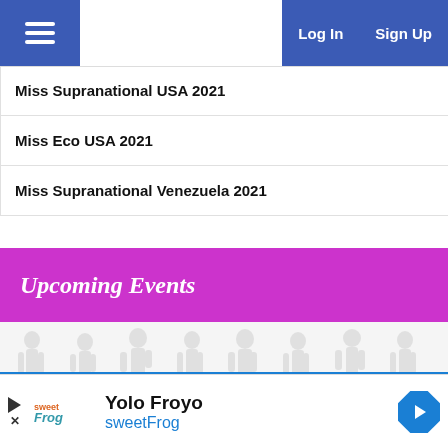Log In  Sign Up
Miss Supranational USA 2021
Miss Eco USA 2021
Miss Supranational Venezuela 2021
Upcoming Events
[Figure (illustration): Silhouettes of women standing in various poses against a light grey background]
HOME  NEWS  News
[Figure (infographic): Advertisement for Yolo Froyo by sweetFrog with logo and navigation arrow icon]